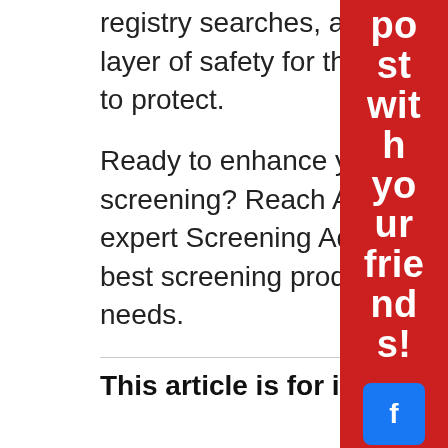registry searches, and other safeguards that add an extra layer of safety for the house team that you work so hard to protect.
Ready to enhance your organization's safety with vendor screening? Reach AmericanChecked here – our friendly, expert Screening Advisors are ready to guide you to the best screening products for your organization's specific needs.
[Figure (infographic): Red sidebar with bold white text reading 'post with your friends!' and below it social media icons for Facebook, Twitter, and LinkedIn]
This article is for informational purpo...